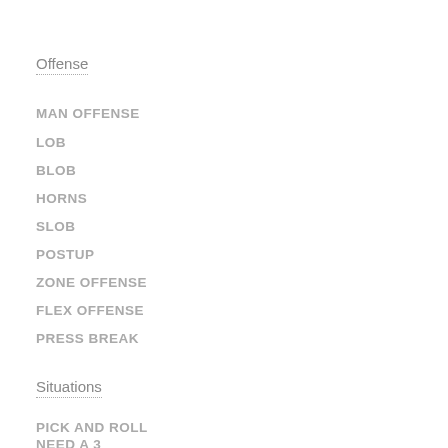Offense
MAN OFFENSE
LOB
BLOB
HORNS
SLOB
POSTUP
ZONE OFFENSE
FLEX OFFENSE
PRESS BREAK
Situations
PICK AND ROLL
NEED A 3